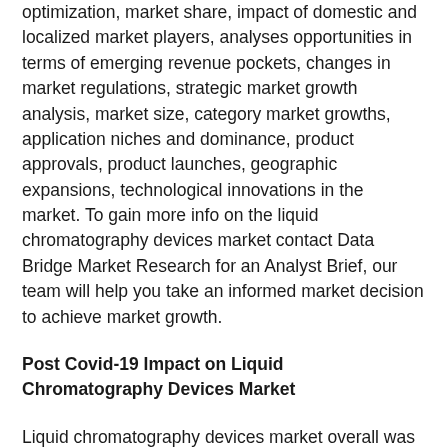optimization, market share, impact of domestic and localized market players, analyses opportunities in terms of emerging revenue pockets, changes in market regulations, strategic market growth analysis, market size, category market growths, application niches and dominance, product approvals, product launches, geographic expansions, technological innovations in the market. To gain more info on the liquid chromatography devices market contact Data Bridge Market Research for an Analyst Brief, our team will help you take an informed market decision to achieve market growth.
Post Covid-19 Impact on Liquid Chromatography Devices Market
Liquid chromatography devices market overall was positively impacted by the outbreak of COVID-19. Researchers are using chromatographic technology to